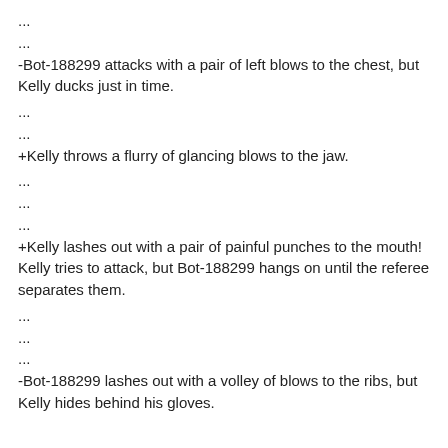...
...
-Bot-188299 attacks with a pair of left blows to the chest, but Kelly ducks just in time.
...
...
+Kelly throws a flurry of glancing blows to the jaw.
...
...
...
+Kelly lashes out with a pair of painful punches to the mouth!
Kelly tries to attack, but Bot-188299 hangs on until the referee separates them.
...
...
...
-Bot-188299 lashes out with a volley of blows to the ribs, but Kelly hides behind his gloves.